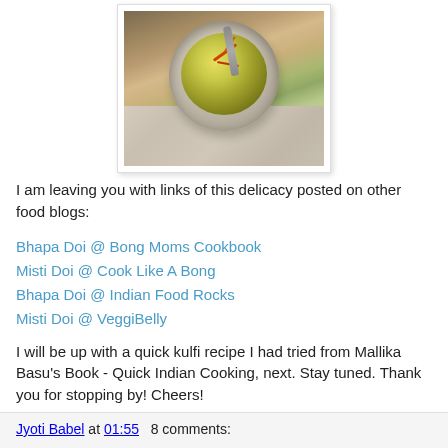[Figure (photo): A bowl of yellow/golden Indian dessert (bhapa doi or misti doi) with saffron strands on top and a spoon, placed on a cloth napkin on a wooden surface.]
I am leaving you with links of this delicacy posted on other food blogs:
Bhapa Doi @ Bong Moms Cookbook
Misti Doi @ Cook Like A Bong
Bhapa Doi @ Indian Food Rocks
Misti Doi @ VeggiBelly
I will be up with a quick kulfi recipe I had tried from Mallika Basu's Book - Quick Indian Cooking, next. Stay tuned. Thank you for stopping by! Cheers!
Jyoti Babel at 01:55   8 comments: